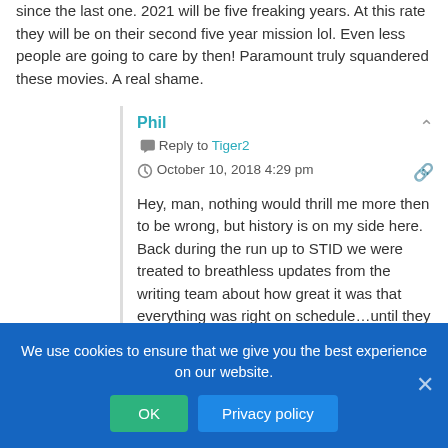since the last one. 2021 will be five freaking years. At this rate they will be on their second five year mission lol. Even less people are going to care by then! Paramount truly squandered these movies. A real shame.
Phil
Reply to Tiger2
October 10, 2018 4:29 pm
Hey, man, nothing would thrill me more then to be wrong, but history is on my side here. Back during the run up to STID we were treated to breathless updates from the writing team about how great it was that everything was right on schedule...until they postponed it for a year. It seems that Trek is the property Bad Robot goes to to fill a hole in their ... And Paramount se...h that. Same thing happened wi... complaint is that STID and STB both felt like rushed productions.
We use cookies to ensure that we give you the best experience on our website.